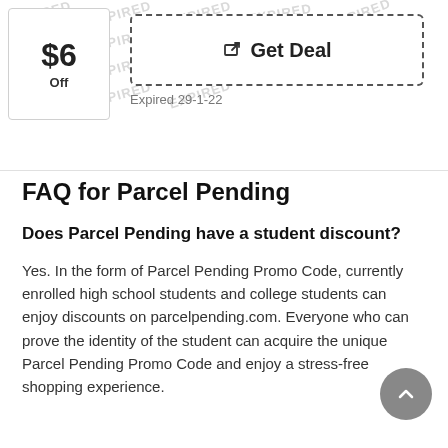[Figure (other): Coupon box showing $6 Off with a Get Deal button and Expired 29-1-22 label, overlaid with repeated EXPIRED watermarks]
FAQ for Parcel Pending
Does Parcel Pending have a student discount?
Yes. In the form of Parcel Pending Promo Code, currently enrolled high school students and college students can enjoy discounts on parcelpending.com. Everyone who can prove the identity of the student can acquire the unique Parcel Pending Promo Code and enjoy a stress-free shopping experience.